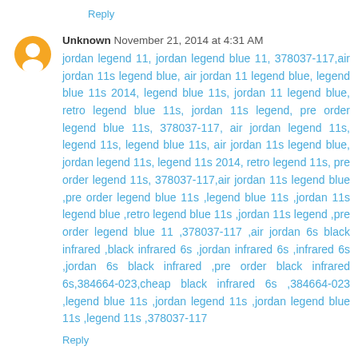Reply
Unknown November 21, 2014 at 4:31 AM
jordan legend 11, jordan legend blue 11, 378037-117,air jordan 11s legend blue, air jordan 11 legend blue, legend blue 11s 2014, legend blue 11s, jordan 11 legend blue, retro legend blue 11s, jordan 11s legend, pre order legend blue 11s, 378037-117, air jordan legend 11s, legend 11s, legend blue 11s, air jordan 11s legend blue, jordan legend 11s, legend 11s 2014, retro legend 11s, pre order legend 11s, 378037-117,air jordan 11s legend blue ,pre order legend blue 11s ,legend blue 11s ,jordan 11s legend blue ,retro legend blue 11s ,jordan 11s legend ,pre order legend blue 11 ,378037-117 ,air jordan 6s black infrared ,black infrared 6s ,jordan infrared 6s ,infrared 6s ,jordan 6s black infrared ,pre order black infrared 6s,384664-023,cheap black infrared 6s ,384664-023 ,legend blue 11s ,jordan legend 11s ,jordan legend blue 11s ,legend 11s ,378037-117
Reply